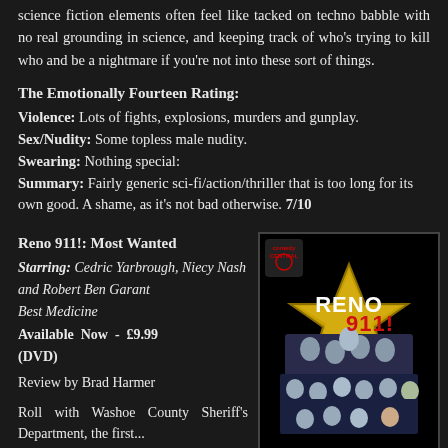science fiction elements often feel like tacked on techno babble with no real grounding in science, and keeping track of who's trying to kill who and be a nightmare if you're not into these sort of things.
The Emotionally Fourteen Rating:
Violence: Lots of fights, explosions, murders and gunplay.
Sex/Nudity: Some topless male nudity.
Swearing: Nothing special:
Summary: Fairly generic sci-fi/action/thriller that is too long for its own good. A shame, as it's not bad otherwise. 7/10
Reno 911!: Most Wanted
Starring: Cedric Yarbrough, Niecy Nash and Robert Ben Garant
Best Medicine
Available Now - £9.99 (DVD)
Review by Brad Harmer
[Figure (photo): DVD cover of Reno 911!: Most Wanted showing cast members in sheriff uniforms with a gold star badge, with Comedy Central logo and title in white and red text]
Roll with Washoe County Sheriff's Department, the first...